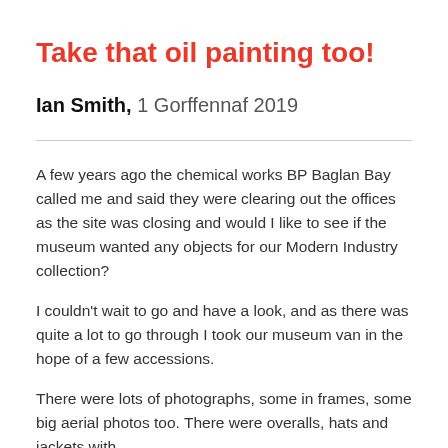Take that oil painting too!
Ian Smith, 1 Gorffennaf 2019
A few years ago the chemical works BP Baglan Bay called me and said they were clearing out the offices as the site was closing and would I like to see if the museum wanted any objects for our Modern Industry collection?
I couldn't wait to go and have a look, and as there was quite a lot to go through I took our museum van in the hope of a few accessions.
There were lots of photographs, some in frames, some big aerial photos too. There were overalls, hats and jackets with